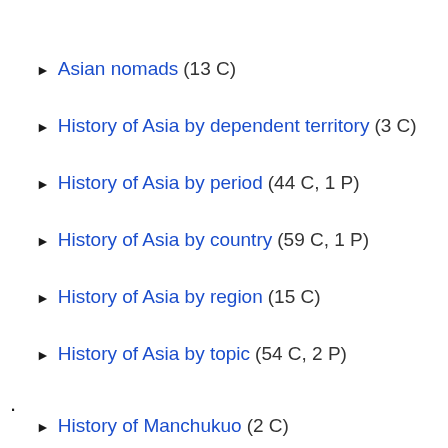► Asian nomads (13 C)
► History of Asia by dependent territory (3 C)
► History of Asia by period (44 C, 1 P)
► History of Asia by country (59 C, 1 P)
► History of Asia by region (15 C)
► History of Asia by topic (54 C, 2 P)
.
► History of Manchukuo (2 C)
*
► Events in Asia (24 C)
► History of the Himalayas (6 C)
► History of Asia by region (14 C, 33 P)